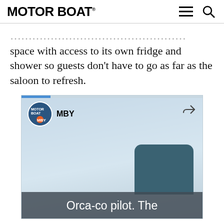MOTOR BOAT
space with access to its own fridge and shower so guests don't have to go as far as the saloon to refresh.
[Figure (screenshot): Embedded video player screenshot from Motor Boat & Yachting (MBY) YouTube channel showing a boat scene with sky background and a dark corner of a vessel. A progress bar is visible at the top. Channel avatar and name 'MBY' are shown in the top left with a share icon top right. Caption text overlay reads 'Orca-co pilot. The']